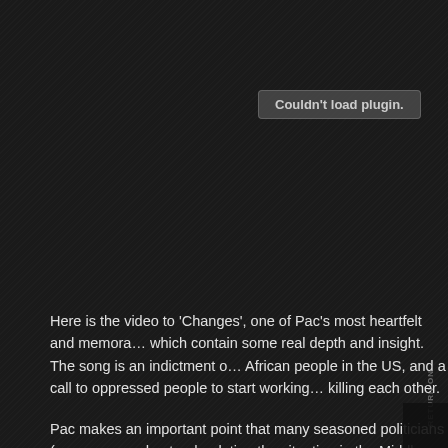[Figure (screenshot): Embedded video plugin area showing 'Couldn't load plugin.' message on dark background]
Here is the video to 'Changes', one of Pac's most heartfelt and memorable songs, which contain some real depth and insight. The song is an indictment of the situation of African people in the US, and a call to oppressed people to start working together instead of killing each other.
Pac makes an important point that many seasoned politicians (even those who don't understand, relating the situation in the Middle East to the situation in the United States: